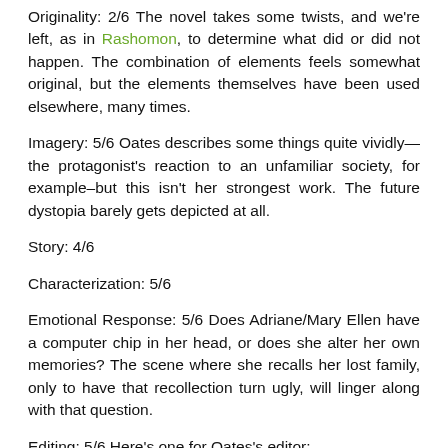Originality: 2/6 The novel takes some twists, and we're left, as in Rashomon, to determine what did or did not happen. The combination of elements feels somewhat original, but the elements themselves have been used elsewhere, many times.
Imagery: 5/6 Oates describes some things quite vividly—the protagonist's reaction to an unfamiliar society, for example–but this isn't her strongest work. The future dystopia barely gets depicted at all.
Story: 4/6
Characterization: 5/6
Emotional Response: 5/6 Does Adriane/Mary Ellen have a computer chip in her head, or does she alter her own memories? The scene where she recalls her lost family, only to have that recollection turn ugly, will linger along with that question.
Editing: 5/6 Here's one for Oates's editor:
Mary Ellen attends the film society's showing of The